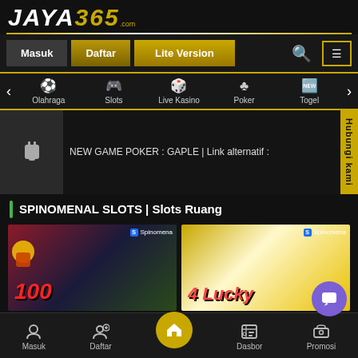[Figure (screenshot): JAYA365 online gaming website logo at top]
Masuk | Daftar | Lite Version | Search | Menu
Olahraga | Slots | Live Kasino | Poker | Togel
NEW GAME POKER : GAPLE | Link alternatif :
SPINOMENAL SLOTS | Slots Ruang
[Figure (screenshot): Two Spinomenal game cards showing 100 and 4 Lucky games]
Masuk | Daftar | (Home) | Dasbor | Promosi